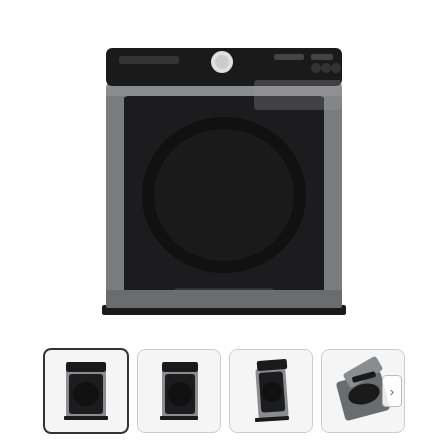[Figure (photo): Samsung front-facing dryer in platinum/silver color with black door and control panel on top, product photo on white background]
[Figure (photo): Four thumbnail images of Samsung dryer from different angles: front view (selected), front-left angle, side-front angle, and top-tilted view. The last thumbnail has a right arrow navigation button.]